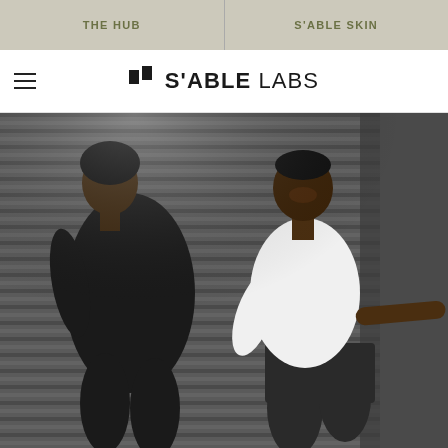THE HUB
S'ABLE SKIN
S'ABLE LABS
[Figure (photo): Two people exercising outdoors in athletic wear in front of a corrugated metal wall. A woman in a black tank top and a man in a white sleeveless shirt performing dynamic workout poses.]